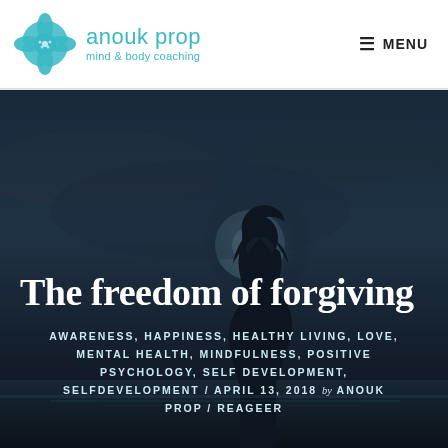[Figure (logo): Anouk Prop mind & body coaching logo with teal flower/snowflake icon and text]
≡ MENU
[Figure (photo): Dark atmospheric photo of a woman silhouette with hands raised in prayer against a moonlit sky]
The freedom of forgiving
AWARENESS, HAPPINESS, HEALTHY LIVING, LOVE, MENTAL HEALTH, MINDFULNESS, POSITIVE PSYCHOLOGY, SELF DEVELOPMENT, SELFDEVELOPMENT / APRIL 13, 2018 by ANOUK PROP / REAGEER